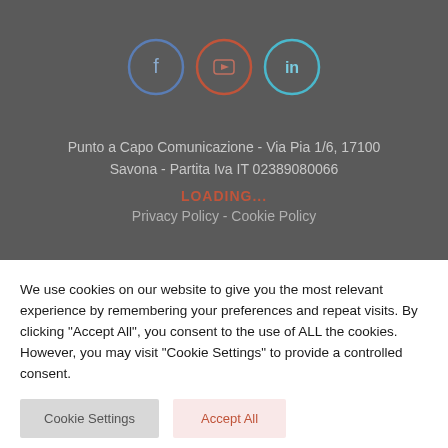[Figure (illustration): Three social media icons in circles: Facebook (blue border), YouTube (red border), LinkedIn (cyan border)]
Punto a Capo Comunicazione - Via Pia 1/6, 17100 Savona - Partita Iva IT 02389080066
LOADING...
Privacy Policy - Cookie Policy
We use cookies on our website to give you the most relevant experience by remembering your preferences and repeat visits. By clicking "Accept All", you consent to the use of ALL the cookies. However, you may visit "Cookie Settings" to provide a controlled consent.
Cookie Settings
Accept All